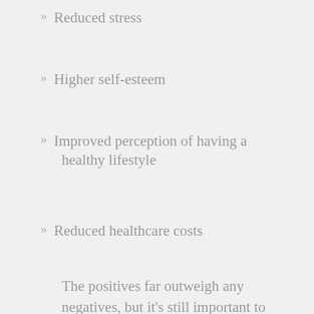Reduced stress
Higher self-esteem
Improved perception of having a healthy lifestyle
Reduced healthcare costs
The positives far outweigh any negatives, but it’s still important to consider programs that are both feasible and sustainable, yet flexible enough to accommodate differing numbers of children as they arrive at